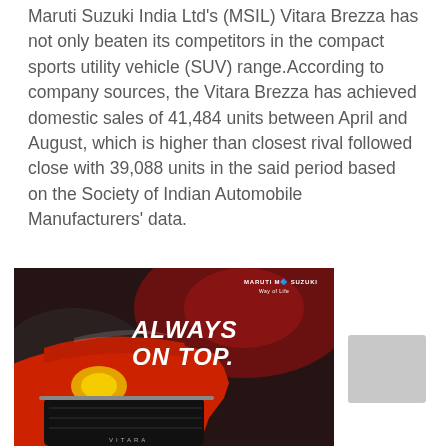Maruti Suzuki India Ltd's (MSIL) Vitara Brezza has not only beaten its competitors in the compact sports utility vehicle (SUV) range.According to company sources, the Vitara Brezza has achieved domestic sales of 41,484 units between April and August, which is higher than closest rival followed close with 39,088 units in the said period based on the Society of Indian Manufacturers' data.
[Figure (illustration): Maruti Suzuki Vitara Brezza advertisement with tagline 'ALWAYS ON TOP.' showing the red car front-facing on a dark smoky background with Maruti Suzuki logo and Way of Life tagline in top right.]